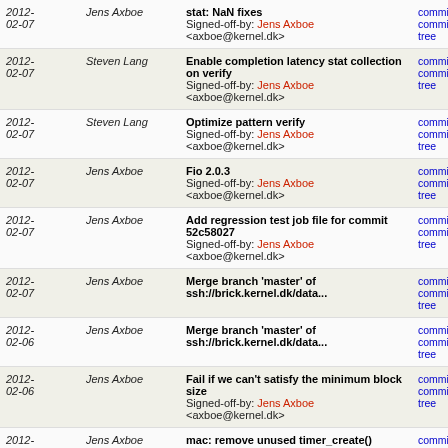| Date | Author | Message | Links |
| --- | --- | --- | --- |
| 2012-02-07 | Jens Axboe | stat: NaN fixes
Signed-off-by: Jens Axboe <axboe@kernel.dk> | commit | commitdiff | tree |
| 2012-02-07 | Steven Lang | Enable completion latency stat collection on verify
Signed-off-by: Jens Axboe <axboe@kernel.dk> | commit | commitdiff | tree |
| 2012-02-07 | Steven Lang | Optimize pattern verify
Signed-off-by: Jens Axboe <axboe@kernel.dk> | commit | commitdiff | tree |
| 2012-02-07 | Jens Axboe | Fio 2.0.3
Signed-off-by: Jens Axboe <axboe@kernel.dk> | commit | commitdiff | tree |
| 2012-02-07 | Jens Axboe | Add regression test job file for commit 52c58027
Signed-off-by: Jens Axboe <axboe@kernel.dk> | commit | commitdiff | tree |
| 2012-02-07 | Jens Axboe | Merge branch 'master' of ssh://brick.kernel.dk/data... | commit | commitdiff | tree |
| 2012-02-06 | Jens Axboe | Merge branch 'master' of ssh://brick.kernel.dk/data... | commit | commitdiff | tree |
| 2012-02-06 | Jens Axboe | Fail if we can't satisfy the minimum block size
Signed-off-by: Jens Axboe <axboe@kernel.dk> | commit | commitdiff | tree |
| 2012-02-03 | Jens Axboe | mac: remove unused timer_create()
Signed-off-by: Jens Axboe <axboe@kernel.dk> | commit | commitdiff | tree |